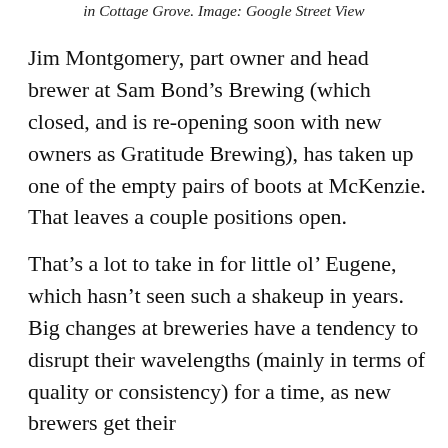in Cottage Grove. Image: Google Street View
Jim Montgomery, part owner and head brewer at Sam Bond’s Brewing (which closed, and is re-opening soon with new owners as Gratitude Brewing), has taken up one of the empty pairs of boots at McKenzie. That leaves a couple positions open.
That’s a lot to take in for little ol’ Eugene, which hasn’t seen such a shakeup in years. Big changes at breweries have a tendency to disrupt their wavelengths (mainly in terms of quality or consistency) for a time, as new brewers get their